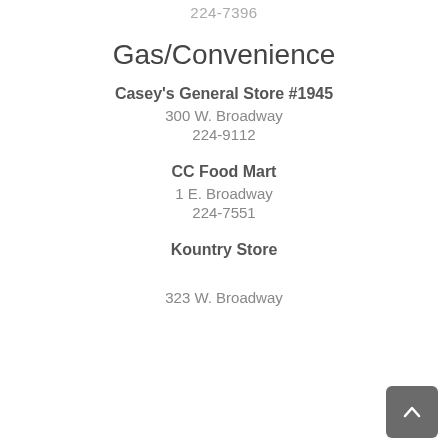224-7396
Gas/Convenience
Casey's General Store #1945
300 W. Broadway
224-9112
CC Food Mart
1 E. Broadway
224-7551
Kountry Store
323 W. Broadway